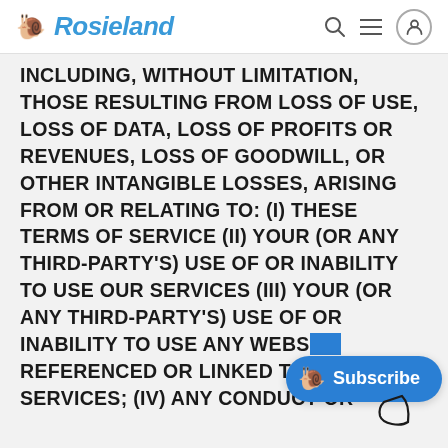Rosieland
INCLUDING, WITHOUT LIMITATION, THOSE RESULTING FROM LOSS OF USE, LOSS OF DATA, LOSS OF PROFITS OR REVENUES, LOSS OF GOODWILL, OR OTHER INTANGIBLE LOSSES, ARISING FROM OR RELATING TO: (i) THESE TERMS OF SERVICE (ii) YOUR (OR ANY THIRD-PARTY'S) USE OF OR INABILITY TO USE OUR SERVICES (iii) YOUR (OR ANY THIRD-PARTY'S) USE OF OR INABILITY TO USE ANY WEBS[ITE] REFERENCED OR LINKED TO[...] SERVICES; (iv) ANY CONDUCT OR